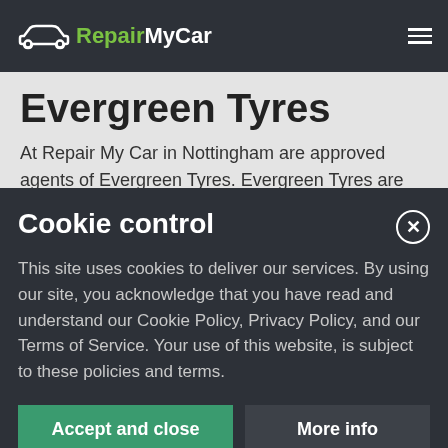RepairMyCar
Evergreen Tyres
At Repair My Car in Nottingham are approved agents of Evergreen Tyres. Evergreen Tyres are made with safety, sustainability and performance central to the design and manufacturing process.
Cookie control
This site uses cookies to deliver our services. By using our site, you acknowledge that you have read and understand our Cookie Policy, Privacy Policy, and our Terms of Service. Your use of this website, is subject to these policies and terms.
Accept and close | More info